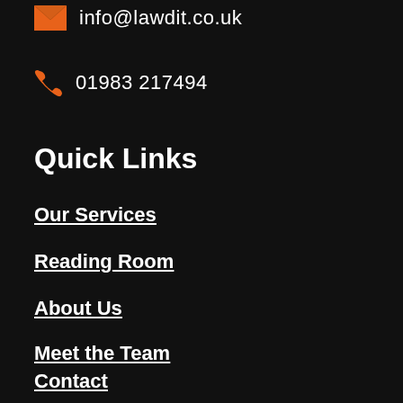info@lawdit.co.uk
01983 217494
Quick Links
Our Services
Reading Room
About Us
Meet the Team
Contact
Legal Notices